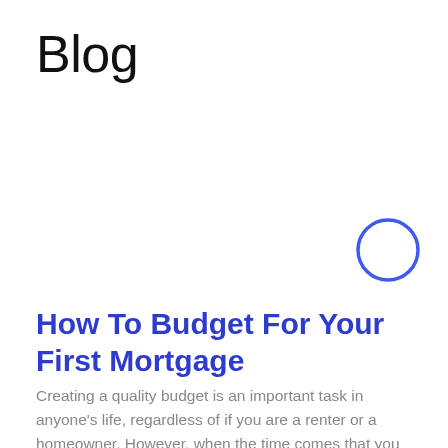Blog
[Figure (illustration): Accessibility icon: a circular blue button with a white stick figure person inside, representing accessibility controls]
How To Budget For Your First Mortgage
Creating a quality budget is an important task in anyone's life, regardless of if you are a renter or a homeowner. However, when the time comes that you are